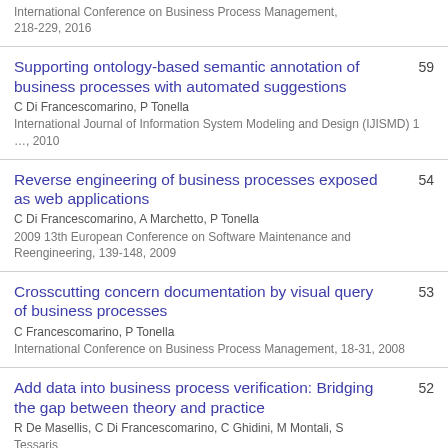International Conference on Business Process Management, 218-229, 2016
Supporting ontology-based semantic annotation of business processes with automated suggestions
C Di Francescomarino, P Tonella
International Journal of Information System Modeling and Design (IJISMD) 1 …, 2010
59
Reverse engineering of business processes exposed as web applications
C Di Francescomarino, A Marchetto, P Tonella
2009 13th European Conference on Software Maintenance and Reengineering, 139-148, 2009
54
Crosscutting concern documentation by visual query of business processes
C Francescomarino, P Tonella
International Conference on Business Process Management, 18-31, 2008
53
Add data into business process verification: Bridging the gap between theory and practice
R De Masellis, C Di Francescomarino, C Ghidini, M Montali, S Tessaris
52